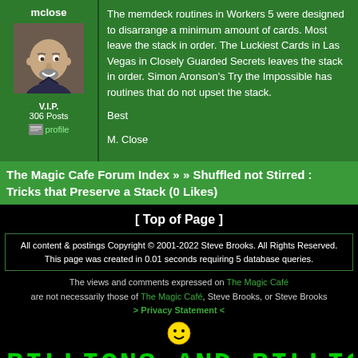mclose
[Figure (photo): Profile photo of M. Close, a bald man with a goatee wearing a dark shirt]
V.I.P.
306 Posts
profile
The memdeck routines in Workers 5 were designed to disarrange a minimum amount of cards. Most leave the stack in order. The Luckiest Cards in Las Vegas in Closely Guarded Secrets leaves the stack in order. Simon Aronson's Try the Impossible has routines that do not upset the stack.

Best

M. Close
The Magic Cafe Forum Index » » Shuffled not Stirred : Tricks that Preserve a Stack (0 Likes)
[ Top of Page ]
All content & postings Copyright © 2001-2022 Steve Brooks. All Rights Reserved.
This page was created in 0.01 seconds requiring 5 database queries.
The views and comments expressed on The Magic Café are not necessarily those of The Magic Café, Steve Brooks, or Steve Brooks > Privacy Statement <
BILLIONS AND BILLIONS S